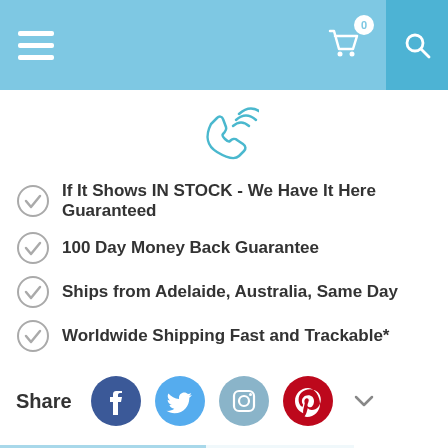Navigation bar with hamburger menu, cart (0 items), and search
[Figure (illustration): Phone/call icon with signal waves in teal color]
If It Shows IN STOCK - We Have It Here Guaranteed
100 Day Money Back Guarantee
Ships from Adelaide, Australia, Same Day
Worldwide Shipping Fast and Trackable*
Share [Facebook] [Twitter] [Instagram] [Pinterest] [more]
DESCRIPTION | REVIEWS
JELLYCAT BASHFUL BLOSSOM JASMINE BUNNY MEDIUM SOFT TOY